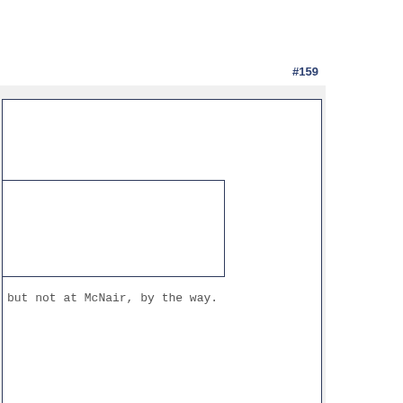#159
but not at McNair, by the way.
Posted on: 2016/1/1 20:16